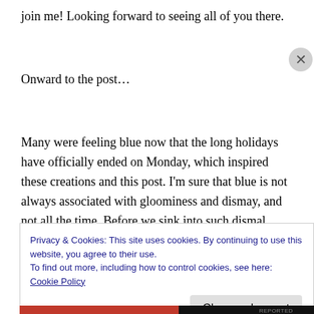join me! Looking forward to seeing all of you there.
Onward to the post…
Many were feeling blue now that the long holidays have officially ended on Monday, which inspired these creations and this post. I'm sure that blue is not always associated with gloominess and dismay, and not all the time. Before we sink into such dismal sentiments for this particular hue, I would like to invite all of you to think of skies
Privacy & Cookies: This site uses cookies. By continuing to use this website, you agree to their use.
To find out more, including how to control cookies, see here: Cookie Policy
Close and accept